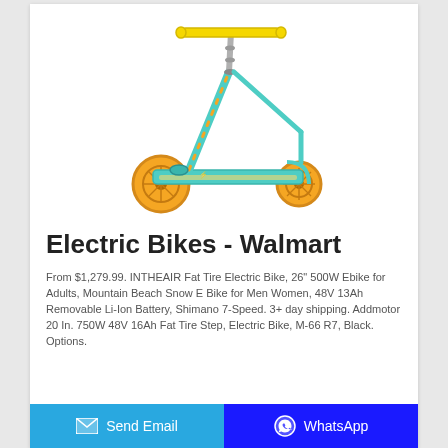[Figure (photo): A yellow and teal/cyan kick scooter with yellow wheels, shown at an angle on a white background.]
Electric Bikes - Walmart
From $1,279.99. INTHEAIR Fat Tire Electric Bike, 26" 500W Ebike for Adults, Mountain Beach Snow E Bike for Men Women, 48V 13Ah Removable Li-Ion Battery, Shimano 7-Speed. 3+ day shipping. Addmotor 20 In. 750W 48V 16Ah Fat Tire Step, Electric Bike, M-66 R7, Black. Options.
Send Email | WhatsApp